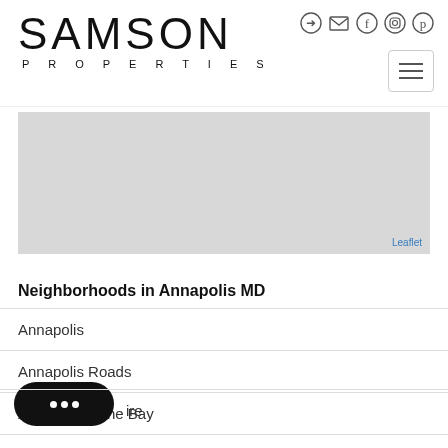[Figure (logo): Samson Properties logo with large SAMSON text and PROPERTIES subtitle]
[Figure (screenshot): Social media icons: login, email, Facebook, Instagram, Pinterest]
[Figure (other): Hamburger menu button with three horizontal lines]
[Figure (map): Leaflet map placeholder showing a gray area with Leaflet attribution link]
Neighborhoods in Annapolis MD
Annapolis
Annapolis Roads
Arundel On The Bay
...aire
[Figure (other): Chat widget button, black rounded pill with three white dots]